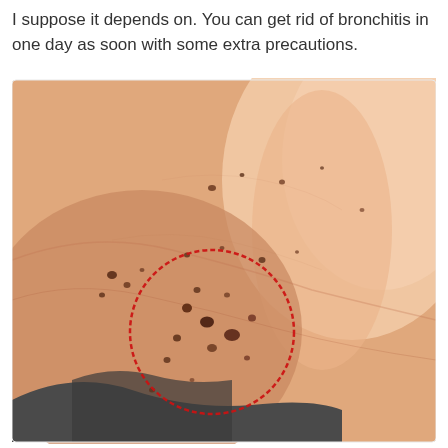I suppose it depends on. You can get rid of bronchitis in one day as soon with some extra precautions.
[Figure (photo): Close-up photo of a person's neck and shoulder area showing skin with multiple dark brown moles/spots scattered across the skin. A red dashed circle highlights a cluster of moles in the lower-center area of the neck. The person is wearing a dark gray bra strap visible at the bottom.]